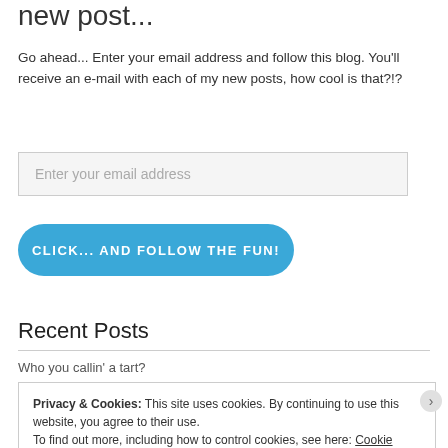new post...
Go ahead... Enter your email address and follow this blog. You'll receive an e-mail with each of my new posts, how cool is that?!?
Enter your email address
CLICK... AND FOLLOW THE FUN!
Recent Posts
Who you callin' a tart?
Privacy & Cookies: This site uses cookies. By continuing to use this website, you agree to their use.
To find out more, including how to control cookies, see here: Cookie Policy
Close and accept